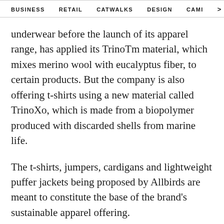BUSINESS   RETAIL   CATWALKS   DESIGN   CAMI  >
underwear before the launch of its apparel range, has applied its TrinoTm material, which mixes merino wool with eucalyptus fiber, to certain products. But the company is also offering t-shirts using a new material called TrinoXo, which is made from a biopolymer produced with discarded shells from marine life.
The t-shirts, jumpers, cardigans and lightweight puffer jackets being proposed by Allbirds are meant to constitute the base of the brand's sustainable apparel offering.
The funding recently received by the company has permitted it to clear the first hurdles that usually face